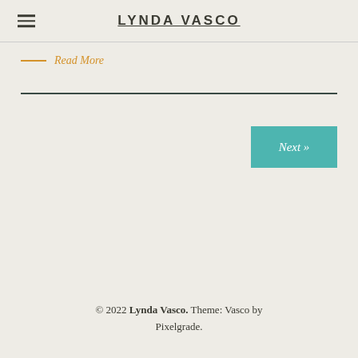LYNDA VASCO
Read More
Next »
© 2022 Lynda Vasco. Theme: Vasco by Pixelgrade.